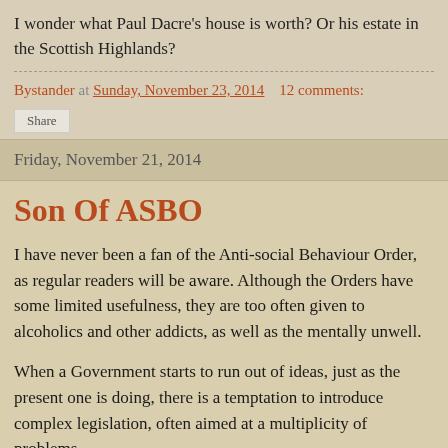I wonder what Paul Dacre's house is worth? Or his estate in the Scottish Highlands?
Bystander at Sunday, November 23, 2014   12 comments:
Share
Friday, November 21, 2014
Son Of ASBO
I have never been a fan of the Anti-social Behaviour Order, as regular readers will be aware. Although the Orders have some limited usefulness, they are too often given to alcoholics and other addicts, as well as the mentally unwell.
When a Government starts to run out of ideas, just as the present one is doing, there is a temptation to introduce complex legislation, often aimed at a multiplicity of problems